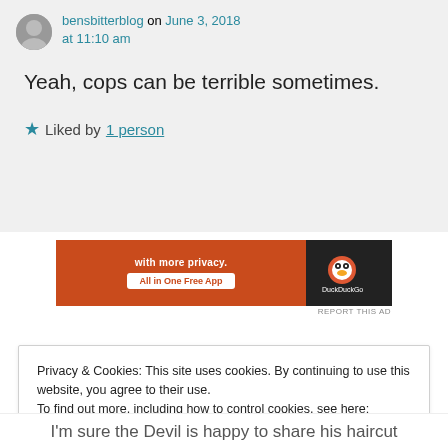bensbitterblog on June 3, 2018 at 11:10 am
Yeah, cops can be terrible sometimes.
★ Liked by 1 person
[Figure (other): DuckDuckGo advertisement banner: 'with more privacy. All in One Free App']
REPORT THIS AD
Privacy & Cookies: This site uses cookies. By continuing to use this website, you agree to their use.
To find out more, including how to control cookies, see here: Cookie Policy
Close and accept
I'm sure the Devil is happy to share his haircut